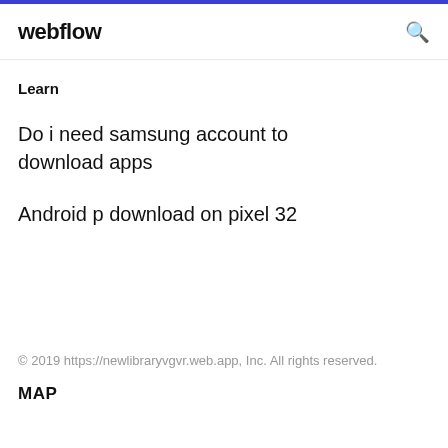webflow
Learn
Do i need samsung account to download apps
Android p download on pixel 32
© 2019 https://newlibraryvgvr.web.app, Inc. All rights reserved.
MAP